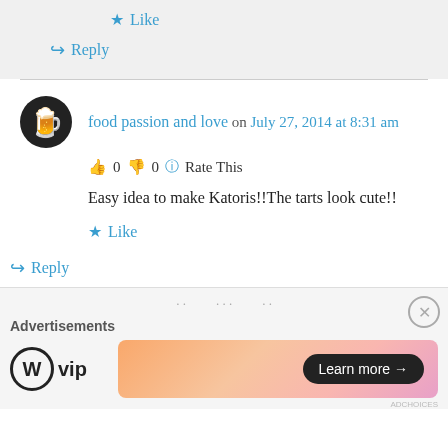★ Like
↪ Reply
food passion and love on July 27, 2014 at 8:31 am
👍 0 👎 0 ℹ Rate This
Easy idea to make Katoris!!The tarts look cute!!
★ Like
↪ Reply
[Figure (screenshot): WordPress VIP advertisement banner with 'Learn more →' button on gradient background]